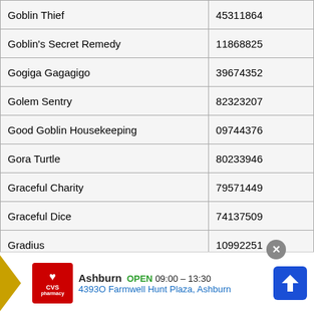| Goblin Thief | 45311864 |
| Goblin's Secret Remedy | 11868825 |
| Gogiga Gagagigo | 39674352 |
| Golem Sentry | 82323207 |
| Good Goblin Housekeeping | 09744376 |
| Gora Turtle | 80233946 |
| Graceful Charity | 79571449 |
| Graceful Dice | 74137509 |
| Gradius | 10992251 |
| Gradius' Option | 14291024 |
| Granadora | 13944422 |
| Grand Tiki Elder | 13676474 |
| Granmarg the Rock Monarch | 60229110 |
| Gravedigger Ghoul | 82**2267 |
| Gravekee... | **7698 |
| Gravekee... | **2728 |